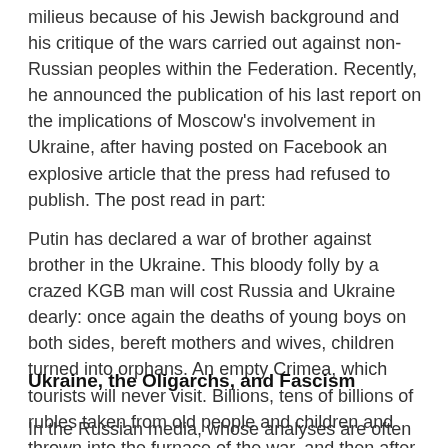milieus because of his Jewish background and his critique of the wars carried out against non-Russian peoples within the Federation. Recently, he announced the publication of his last report on the implications of Moscow's involvement in Ukraine, after having posted on Facebook an explosive article that the press had refused to publish. The post read in part:
Putin has declared a war of brother against brother in the Ukraine. This bloody folly by a crazed KGB man will cost Russia and Ukraine dearly: once again the deaths of young boys on both sides, bereft mothers and wives, children turned into orphans. An empty Crimea, which tourists will never visit. Billions, tens of billions of rubles taken from old people and children and thrown into the furnace of the war, and then after that even more money to prop up the thieving regime in Crimea. … The ghoul needs a war. He needs the blood of the people.8
Ukraine, the Oligarchs, and Fascism
In the Russian media, whose analyses are often